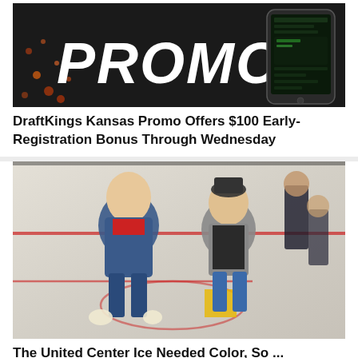[Figure (photo): Dark background image with large white bold italic text 'PROMO' and a smartphone on the right side with orange splatter dots]
DraftKings Kansas Promo Offers $100 Early-Registration Bonus Through Wednesday
[Figure (photo): Workers painting or applying colored graphics on ice at the United Center arena, two men smiling in foreground, others working in background]
The United Center Ice Needed Color, So ...
[Figure (photo): Football players in game action, LSU player with yellow and purple helmet visible, Alabama player with red helmet number 20]